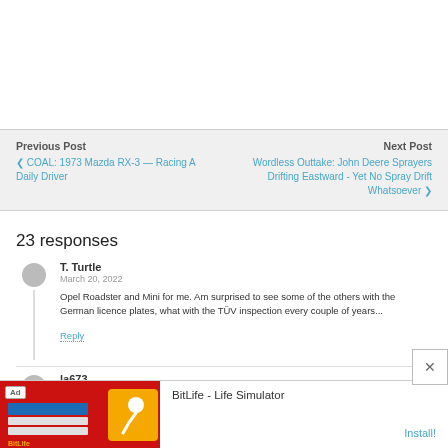[Figure (other): White blank area at top of page]
Previous Post
Next Post
< COAL: 1973 Mazda RX-3 — Racing A Daily Driver
Wordless Outtake: John Deere Sprayers Drifting Eastward - Yet No Spray Drift Whatsoever >
23 responses
T. Turtle
March 20, 2022
Opel Roadster and Mini for me. Am surprised to see some of the others with the German licence plates, what with the TÜV inspection every couple of years...
Reply
la673
March 20, 2022
Audi A2. I wish we got cars that that here in the U.S. (small, practical,
[Figure (other): Advertisement banner: BitLife - Life Simulator app ad with red background, logo, and Install! button]